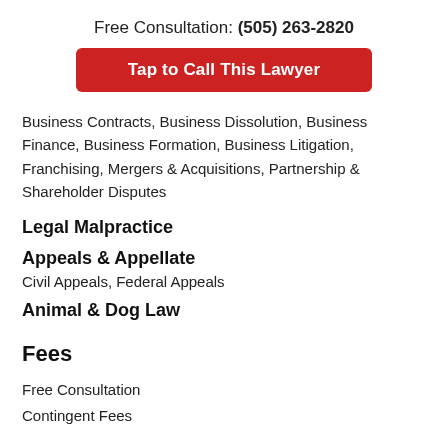Free Consultation: (505) 263-2820
[Figure (other): Red button: Tap to Call This Lawyer]
Business Contracts, Business Dissolution, Business Finance, Business Formation, Business Litigation, Franchising, Mergers & Acquisitions, Partnership & Shareholder Disputes
Legal Malpractice
Appeals & Appellate
Civil Appeals, Federal Appeals
Animal & Dog Law
Fees
Free Consultation
Contingent Fees